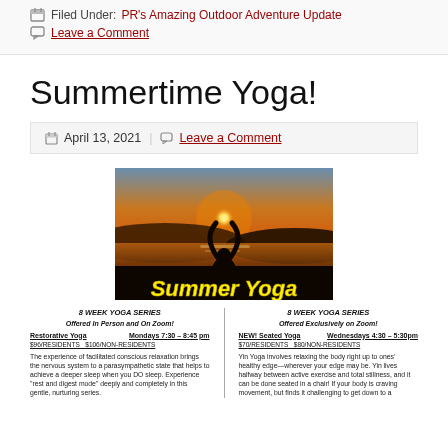Filed Under: PR's Amazing Outdoor Adventure Update
Leave a Comment
Summertime Yoga!
April 13, 2021  Leave a Comment
[Figure (photo): Silhouette of a person doing yoga at sunset over water with yellow text 'Summer Yoga']
8 WEEK YOGA SERIES Offered In Person and On Zoom! Restorative Yoga Mondays 7:30 – 8:45 pm $96/RESIDENTS $106/NON-RESIDENTS The experience of facilitated conscious relaxation brings the nervous system to a parasympathetic state that helps to achieve a deeper sleep when you DO sleep. Experience "rest and digest mode" deeply and completely in this gentle, nurturing series.
8 WEEK YOGA SERIES Offered Exclusively on Zoom! NEW! Seated Yoga Wednesdays 4:30 – 5:30pm $70/Residents $80/non-residents Yin Yoga involves relaxing the body right up to ones' healthy edge—wherever your edge may be. Yin lives halfway between active exercise and total stillness, and it can be done seated in a chair! If your body is craving movement, but finds it challenging to get down to a nurturing series.